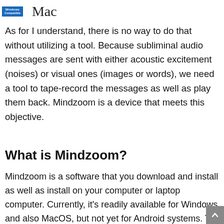[Figure (logo): Windows Compatible badge logo and Mac text logo]
As for I understand, there is no way to do that without utilizing a tool. Because subliminal audio messages are sent with either acoustic excitement (noises) or visual ones (images or words), we need a tool to tape-record the messages as well as play them back. Mindzoom is a device that meets this objective.
What is Mindzoom?
Mindzoom is a software that you download and install as well as install on your computer or laptop computer. Currently, it's readily available for Windows and also MacOS, but not yet for Android systems. The download dimension has to do with